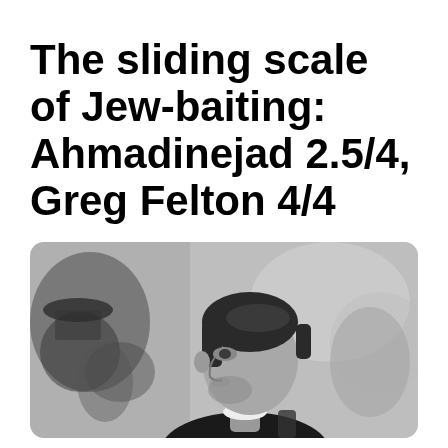The sliding scale of Jew-baiting: Ahmadinejad 2.5/4, Greg Felton 4/4
[Figure (photo): Black and white photograph of a young man wearing a kippah, shown in profile, with blurred figures in the background]